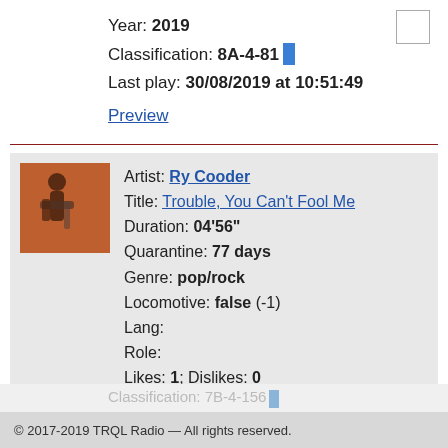Year: 2019
Classification: 8A-4-81
Last play: 30/08/2019 at 10:51:49
Preview
Artist: Ry Cooder
Title: Trouble, You Can't Fool Me
Duration: 04'56"
Quarantine: 77 days
Genre: pop/rock
Locomotive: false (-1)
Lang:
Role:
Likes: 1; Dislikes: 0
© 2017-2019 TRQL Radio — All rights reserved.